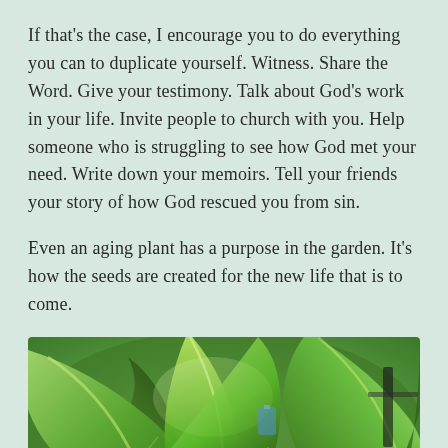If that's the case, I encourage you to do everything you can to duplicate yourself. Witness. Share the Word. Give your testimony. Talk about God's work in your life. Invite people to church with you. Help someone who is struggling to see how God met your need. Write down your memoirs. Tell your friends your story of how God rescued you from sin.
Even an aging plant has a purpose in the garden. It's how the seeds are created for the new life that is to come.
[Figure (photo): Close-up photograph of lush green corn or large-leafed plant stalks in a garden, with sunlight filtering through the broad green leaves. Blue and black objects visible in the background.]